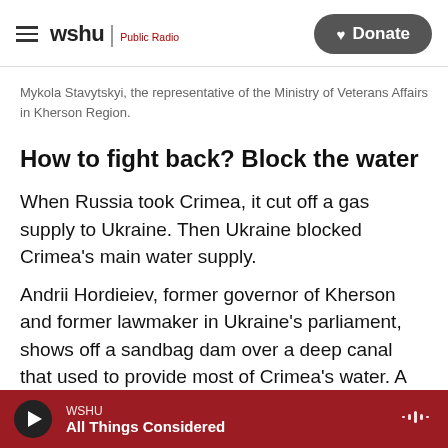wshu Public Radio | Donate
Mykola Stavytskyi, the representative of the Ministry of Veterans Affairs in Kherson Region.
How to fight back? Block the water
When Russia took Crimea, it cut off a gas supply to Ukraine. Then Ukraine blocked Crimea's main water supply.
Andrii Hordieiev, former governor of Kherson and former lawmaker in Ukraine's parliament, shows off a sandbag dam over a deep canal that used to provide most of Crimea's water. A newer, sturdier
WSHU
All Things Considered